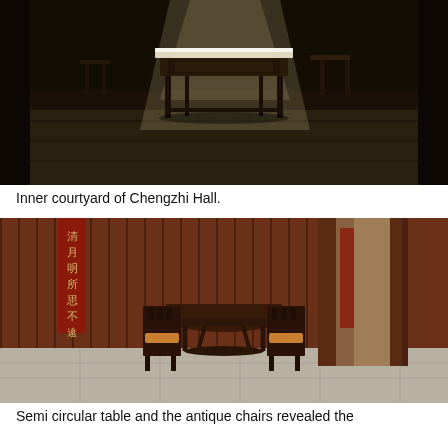[Figure (photo): Interior of Chengzhi Hall inner courtyard, dark atmospheric photo showing a wooden altar table with white cloth in the center, lit by shaft of light, with wooden pillars and stone floor in background, additional wooden furniture visible in far background.]
Inner courtyard of Chengzhi Hall.
[Figure (photo): Interior room with wooden plank walls, a vertical red banner with Chinese calligraphy characters on the left, a semi-circular wooden table in the center flanked by two antique chairs with orange cushions, and a rectangular doorway opening on the right revealing another room. Stone tile floor.]
Semi circular table and the antique chairs revealed the